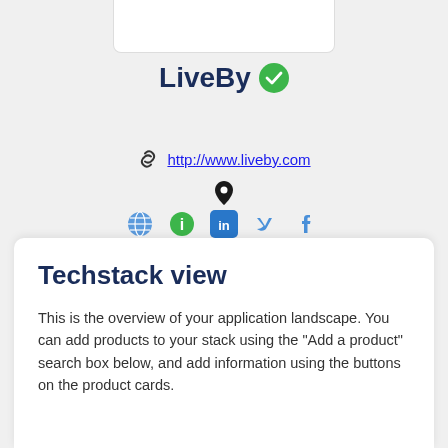[Figure (screenshot): Top portion of a white card/panel visible at top of page]
LiveBy ✓
http://www.liveby.com
[Figure (infographic): Social media icons: globe, info, LinkedIn, Twitter, Facebook]
Techstack view
This is the overview of your application landscape. You can add products to your stack using the "Add a product" search box below, and add information using the buttons on the product cards.